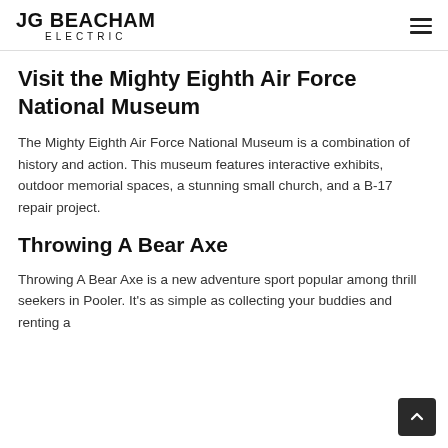JG BEACHAM ELECTRIC
Visit the Mighty Eighth Air Force National Museum
The Mighty Eighth Air Force National Museum is a combination of history and action. This museum features interactive exhibits, outdoor memorial spaces, a stunning small church, and a B-17 repair project.
Throwing A Bear Axe
Throwing A Bear Axe is a new adventure sport popular among thrill seekers in Pooler. It's as simple as collecting your buddies and renting a...